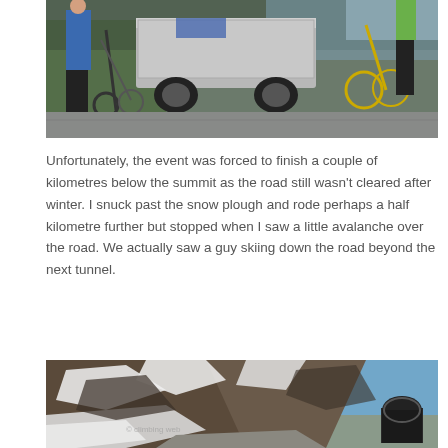[Figure (photo): Cyclists and bicycles gathered near a truck/utility vehicle on a road, outdoor event scene]
Unfortunately, the event was forced to finish a couple of kilometres below the summit as the road still wasn't cleared after winter. I snuck past the snow plough and rode perhaps a half kilometre further but stopped when I saw a little avalanche over the road. We actually saw a guy skiing down the road beyond the next tunnel.
[Figure (photo): Mountain landscape with snow, rocky peaks, and a road with a tunnel entrance visible at bottom right]